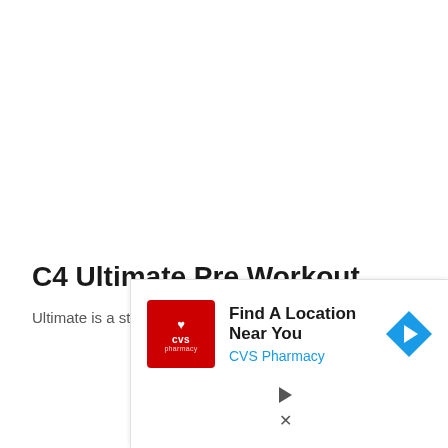C4 Ultimate Pre Workout
Ultimate is a step up from C4 Original for a couple
[Figure (other): CVS Pharmacy advertisement banner with red CVS logo on left, text 'Find A Location Near You' in bold and 'CVS Pharmacy' in blue, and a blue diamond-shaped navigation arrow icon on the right. Below the ad are play and close control icons.]